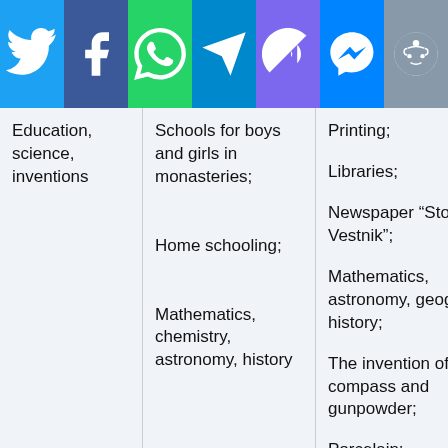[Figure (infographic): Social media sharing bar with icons: Twitter (blue), Facebook (dark blue), WhatsApp (green), Telegram (light blue), Viber (purple), Messenger (blue), Reddit (gray)]
| Education, science, inventions |  |  |
| --- | --- | --- |
| Education, science, inventions | Schools for boys and girls in monasteries; | Printing; |
|  |  | Libraries; |
|  | Home schooling; | Newspaper “Stolichny Vestnik”; |
|  | Mathematics, chemistry, astronomy, history | Mathematics, astronomy, geography, history; |
|  |  | The invention of the compass and gunpowder; |
|  |  | Porcelain; |
|  |  | Higher schools for officials; |
|  |  | General Academy of… |